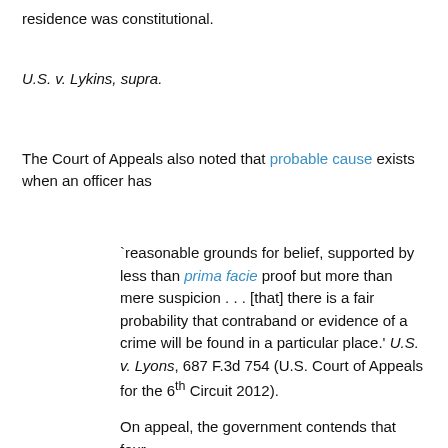residence was constitutional.
U.S. v. Lykins, supra.
The Court of Appeals also noted that probable cause exists when an officer has
`reasonable grounds for belief, supported by less than prima facie proof but more than mere suspicion . . . [that] there is a fair probability that contraband or evidence of a crime will be found in a particular place.' U.S. v. Lyons, 687 F.3d 754 (U.S. Court of Appeals for the 6th Circuit 2012).
On appeal, the government contends that four